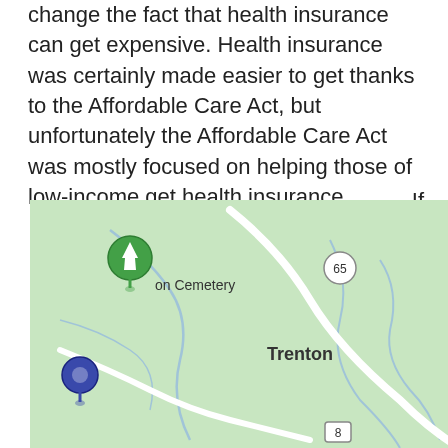change the fact that health insurance can get expensive. Health insurance was certainly made easier to get thanks to the Affordable Care Act, but unfortunately the Affordable Care Act was mostly focused on helping those of low-income get health insurance.
If
[Figure (map): A Google Maps-style map showing the area around Trenton, with a green cemetery marker labeled 'on Cemetery', route 65 circle marker, 'Trenton' label in the center, 'Pleasa Grove' partially visible on the right, a dark blue location pin on the lower left, and route 8 marker at the bottom center. The map background is light green with blue river/creek lines and white roads.]